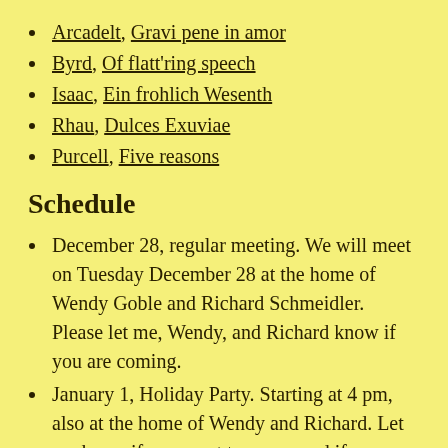Arcadelt, Gravi pene in amor
Byrd, Of flatt'ring speech
Isaac, Ein frohlich Wesenth
Rhau, Dulces Exuviae
Purcell, Five reasons
Schedule
December 28, regular meeting. We will meet on Tuesday December 28 at the home of Wendy Goble and Richard Schmeidler. Please let me, Wendy, and Richard know if you are coming.
January 1, Holiday Party. Starting at 4 pm, also at the home of Wendy and Richard. Let me know if you want to come, and if so